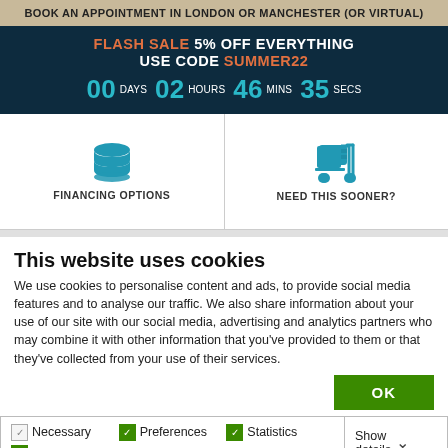BOOK AN APPOINTMENT IN LONDON OR MANCHESTER (OR VIRTUAL)
FLASH SALE 5% OFF EVERYTHING USE CODE SUMMER22 00 DAYS 02 HOURS 46 MINS 35 SECS
[Figure (illustration): Two icons: a database/coins stack icon labeled FINANCING OPTIONS, and a hand-truck/delivery cart icon labeled NEED THIS SOONER?]
This website uses cookies
We use cookies to personalise content and ads, to provide social media features and to analyse our traffic. We also share information about your use of our site with our social media, advertising and analytics partners who may combine it with other information that you've provided to them or that they've collected from your use of their services.
OK
Necessary  Preferences  Statistics  Marketing  Show details